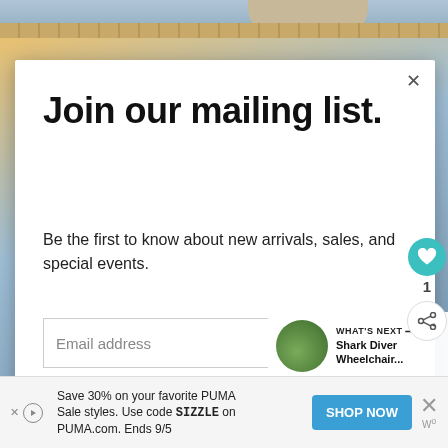[Figure (photo): Background scenic image with beach/water and wooden deck, partially visible feet at top]
Join our mailing list.
Be the first to know about new arrivals, sales, and special events.
Email address
Subscribe
WHAT'S NEXT → Shark Diver Wheelchair...
Save 30% on your favorite PUMA Sale styles. Use code SIZZLE on PUMA.com. Ends 9/5
SHOP NOW